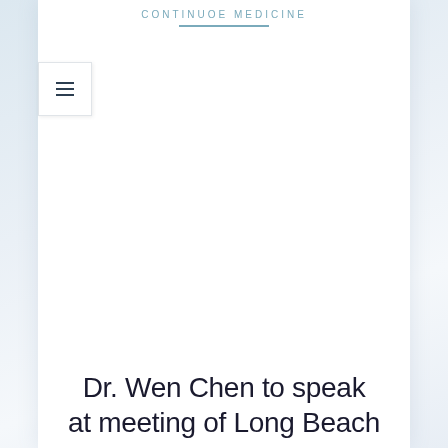CONTINUOE MEDICINE
Dr. Wen Chen to speak at meeting of Long Beach